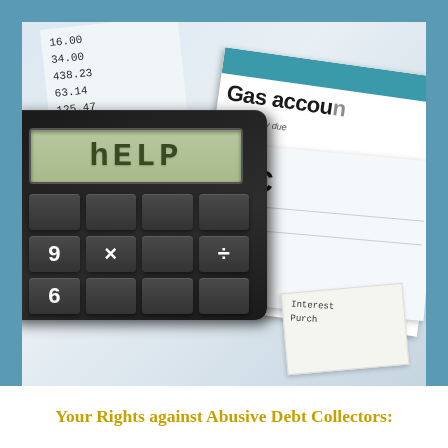[Figure (photo): A close-up photo of a calculator displaying 'hELP' on its screen, resting on top of financial documents including a gas account statement, a phone account bill, and a numerical statement with figures such as 438.23, 125.47, 111.62, 82.72, 103.74, 121.88, 51.00. The calculator keys visible include 9, x, 6, and a division symbol.]
Your Rights against Abusive Debt Collectors: